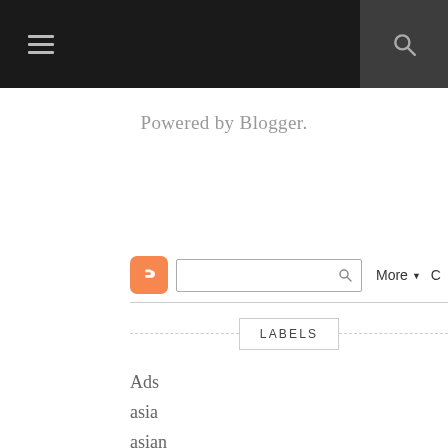≡  [search icon]
Powered by Blogger.
[Figure (screenshot): Blogger navbar with orange Blogger icon, search input box, More dropdown button, and C label]
LABELS
Ads
asia
asian